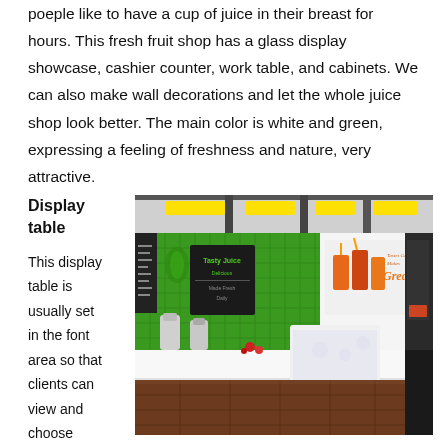poeple like to have a cup of juice in their breast for hours. This fresh fruit shop has a glass display showcase, cashier counter, work table, and cabinets. We can also make wall decorations and let the whole juice shop look better. The main color is white and green, expressing a feeling of freshness and nature, very attractive.
Display table
[Figure (photo): Interior rendering of a fresh juice shop with green tile wall, blenders on a white counter, a cashier counter with floral pattern, wood floor, yellow ceiling lights, and juice promotional graphics on the wall.]
This display table is usually set in the font area so that clients can view and choose